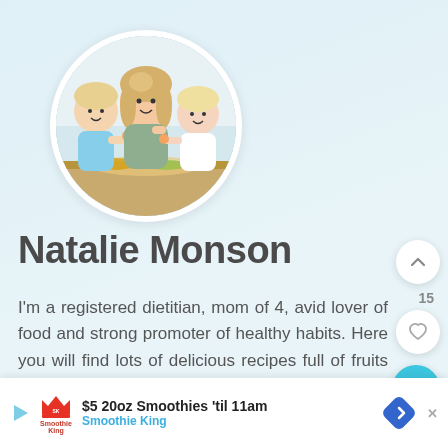[Figure (photo): Circular profile photo of Natalie Monson with two children eating food at a kitchen counter]
Natalie Monson
I'm a registered dietitian, mom of 4, avid lover of food and strong promoter of healthy habits. Here you will find lots of delicious recipes full of fruits and veggies, tips for getting your kids to eat lots of r…
[Figure (infographic): Advertisement banner: $5 20oz Smoothies 'til 11am — Smoothie King]